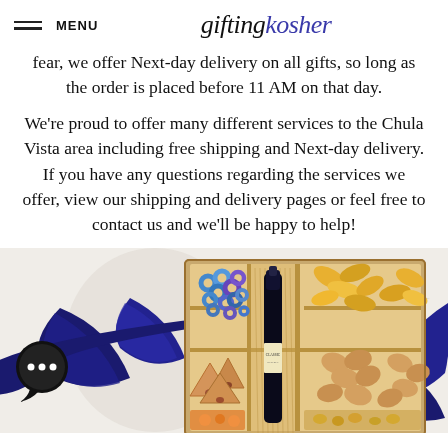MENU | giftingkosher
fear, we offer Next-day delivery on all gifts, so long as the order is placed before 11 AM on that day.
We're proud to offer many different services to the Chula Vista area including free shipping and Next-day delivery. If you have any questions regarding the services we offer, view our shipping and delivery pages or feel free to contact us and we'll be happy to help!
[Figure (photo): A kosher gift box containing a wine bottle, blue candy rings, dried fruit, hamantaschen cookies, and other treats, decorated with dark blue ribbons. A chat bubble icon with three dots is visible in the lower left.]